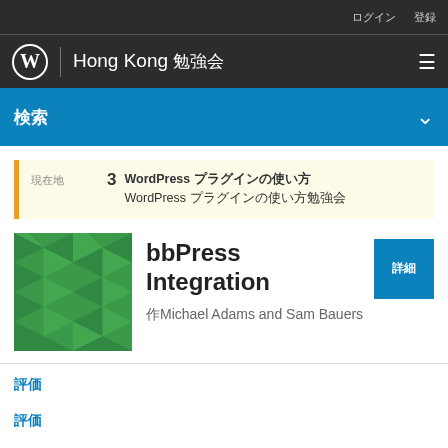ログイン　登録
Hong Kong 勉強会
検索
現在地　3　WordPress プラグインの使い方
WordPress プラグインの使い方勉強会
bbPress Integration
作Michael Adams and Sam Bauers
詳細
評価
評価